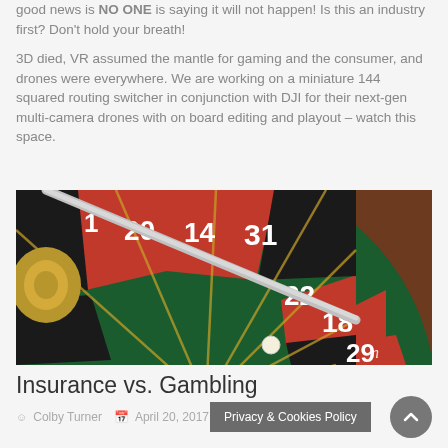good news is NO ONE is saying it will not happen! Is this an industry first? Don't hold your breath!
3D died, VR assumed the mantle for gaming and the consumer, and drones were everywhere. We are working on a miniature 144 squared routing switcher in conjunction with DJI for their next-gen multi-camera drones with on board editing and playout – watch this space.
[Figure (photo): Close-up photograph of a roulette wheel showing numbers including 1, 20, 14, 31, 22, 18, 29 in red and black sections, with the roulette ball visible and the wheel's metal frame.]
Insurance vs. Gambling
Colby Turner   April 20, 2017
Privacy & Cookies Policy